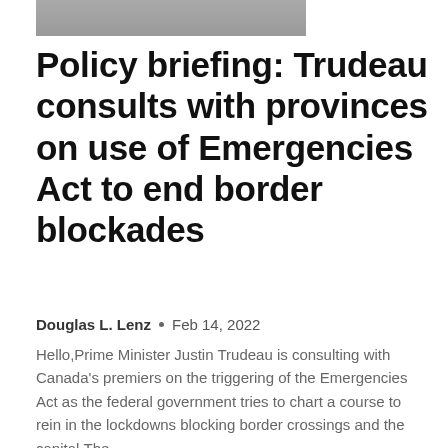[Figure (photo): Partial top photo, cropped at top of page]
Policy briefing: Trudeau consults with provinces on use of Emergencies Act to end border blockades
Douglas L. Lenz  •  Feb 14, 2022
Hello,Prime Minister Justin Trudeau is consulting with Canada's premiers on the triggering of the Emergencies Act as the federal government tries to chart a course to rein in the lockdowns blocking border crossings and the capital.The...
[Figure (logo): Red rounded square with white Arabic calligraphy symbols]